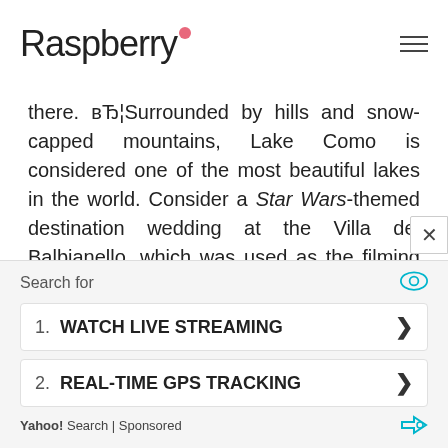Raspberry
there. вЂ¦Surrounded by hills and snow-capped mountains, Lake Como is considered one of the most beautiful lakes in the world. Consider a Star Wars-themed destination wedding at the Villa del Balbianello, which was used as the filming location for Anakin and Padme's secret wedding in Attack of the Clones. Follow it up with a luxury honeymoon at one of the palace-turned-hotels that ring the shore-you may even spot a few celebrities,вЂќ says Alanna Smith, editor
1. WATCH LIVE STREAMING
2. REAL-TIME GPS TRACKING
Yahoo! Search | Sponsored